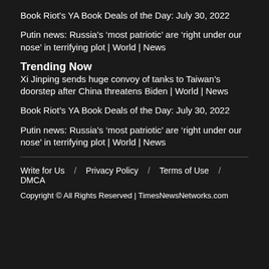Book Riot's YA Book Deals of the Day: July 30, 2022
Putin news: Russia's ‘most patriotic’ are ‘right under our nose’ in terrifying plot | World | News
Trending Now
Xi Jinping sends huge convoy of tanks to Taiwan’s doorstep after China threatens Biden | World | News
Book Riot’s YA Book Deals of the Day: July 30, 2022
Putin news: Russia’s ‘most patriotic’ are ‘right under our nose’ in terrifying plot | World | News
Write for Us / Privacy Policy / Terms of Use / DMCA
Copyright © All Rights Reserved | TimesNewsNetworks.com